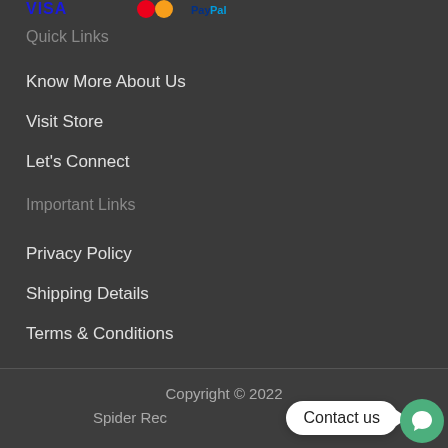[Figure (logo): Payment method icons (Visa, Mastercard, PayPal and others) partially visible at top]
Quick Links
Know More About Us
Visit Store
Let's Connect
Important Links
Privacy Policy
Shipping Details
Terms & Conditions
Copyright © 2022
Spider Rec...
Contact us